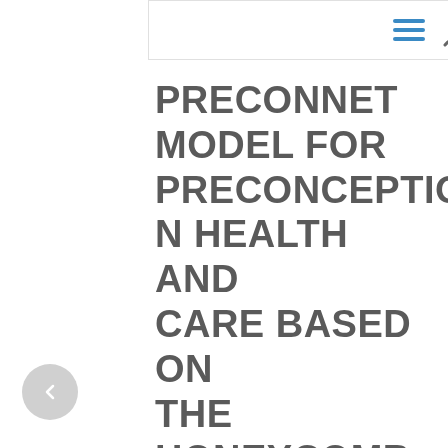PRECONNET MODEL FOR PRECONCEPTION HEALTH AND CARE BASED ON THE HONEYCOMB